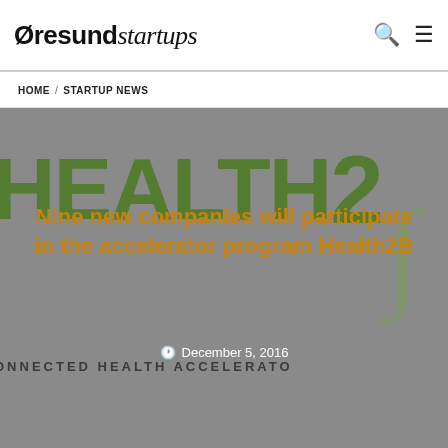Øresundstartups
HOME / STARTUP NEWS
[Figure (photo): Hero image showing the Health2B Connected Health Accelerator logo with large green HEALTH2B text on a grey background, with a decorative swirl on the right side.]
Nine new companies will participate in the accelerator program Health2B
December 5, 2016